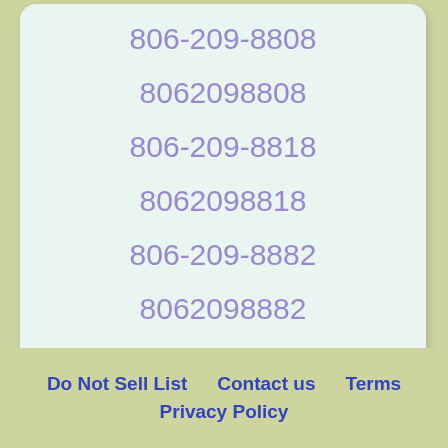806-209-8808
8062098808
806-209-8818
8062098818
806-209-8882
8062098882
Do Not Sell List   Contact us   Terms   Privacy Policy